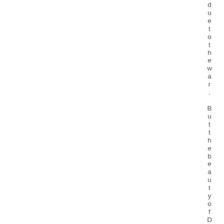due to the war. But the beauty of Duba
[Figure (other): Two-column page layout: left column is white/blank, right column has a light blue-grey background. On the far right edge, vertical text reading characters of a sentence: 'due to the war. But the beauty of Duba' displayed letter by letter from top to bottom.]